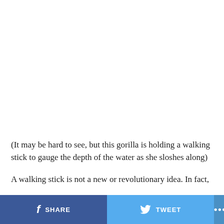[Figure (photo): White/blank image area representing a photo of a gorilla holding a walking stick wading through water (image not visible in this crop)]
(It may be hard to see, but this gorilla is holding a walking stick to gauge the depth of the water as she sloshes along)
A walking stick is not a new or revolutionary idea. In fact,
SHARE   TWEET   ...